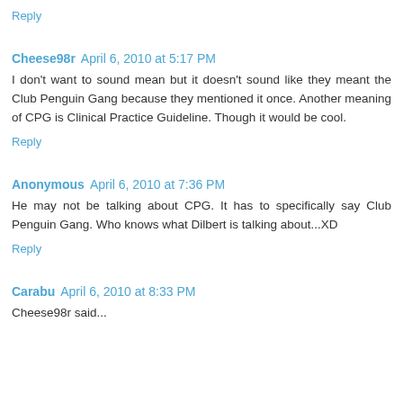Reply
Cheese98r  April 6, 2010 at 5:17 PM
I don't want to sound mean but it doesn't sound like they meant the Club Penguin Gang because they mentioned it once. Another meaning of CPG is Clinical Practice Guideline. Though it would be cool.
Reply
Anonymous  April 6, 2010 at 7:36 PM
He may not be talking about CPG. It has to specifically say Club Penguin Gang. Who knows what Dilbert is talking about...XD
Reply
Carabu  April 6, 2010 at 8:33 PM
Cheese98r said...